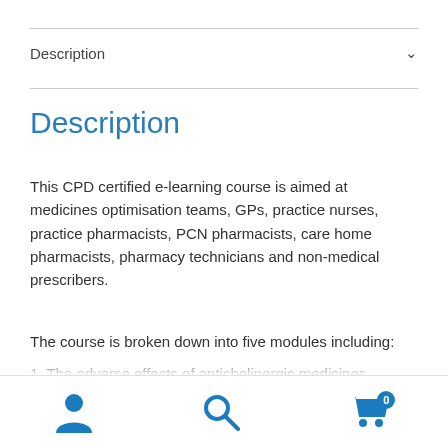Description
Description
This CPD certified e-learning course is aimed at medicines optimisation teams, GPs, practice nurses, practice pharmacists, PCN pharmacists, care home pharmacists, pharmacy technicians and non-medical prescribers.
The course is broken down into five modules including:
1. The adverse effects of anticholinergic medicines
2. Evidence for cognitive impairment with anticholinergic medicines